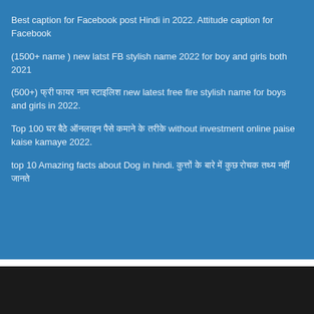Best caption for Facebook post Hindi in 2022. Attitude caption for Facebook
(1500+ name ) new latst FB stylish name 2022 for boy and girls both 2021
(500+) फ्री फायर नाम स्टाइलिश new latest free fire stylish name for boys and girls in 2022.
Top 100 घर बैठे ऑनलाइन पैसे कमाने के तरीके without investment online paise kaise kamaye 2022.
top 10 Amazing facts about Dog in hindi. कुत्तों के बारे में कुछ रोचक तथ्य नहीं जानते